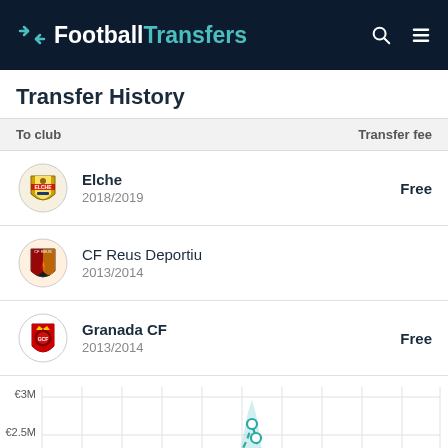FootballTransfers
Transfer History
| To club | Transfer fee |
| --- | --- |
| Elche 2018/2019 | Free |
| CF Reus Deportiu 2013/2014 |  |
| Granada CF 2013/2014 | Free |
[Figure (line-chart): Line chart showing player market value over time with teal dashed line and shaded area, y-axis labels €3M, €2.5M, €2M]